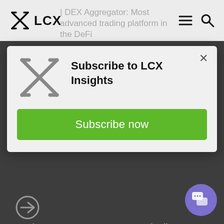LCX | DEX Aggregator: Most advanced trading platform in the DeFi
[Figure (screenshot): Subscribe to LCX Insights modal popup with LCX logo, title 'Subscribe to LCX Insights', and a green 'Subscribe now' button on a light gray background]
routing smart contract automatically detects the best price across Uniswap v2, Uniswap v3, Sushiswap, Kyber, DeFi Swap by Crypto.com, Link Swap, MiniSwap and SakeSwap.